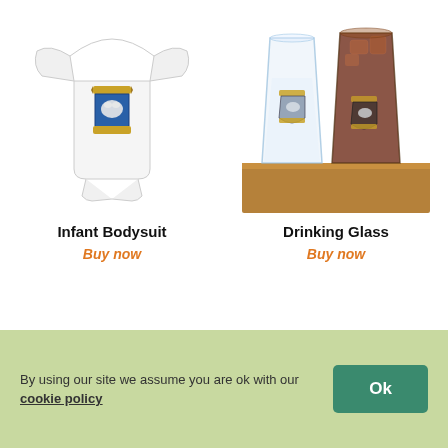[Figure (photo): White infant bodysuit with a heraldic shield logo featuring a bear and gold ribbon banners on the chest]
Infant Bodysuit
Buy now
[Figure (photo): Two drinking glasses on a wooden table, one clear and one filled with a dark iced beverage, both featuring a heraldic wolf shield logo]
Drinking Glass
Buy now
By using our site we assume you are ok with our cookie policy